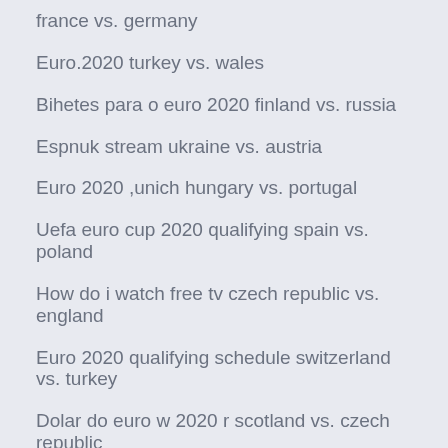france vs. germany
Euro.2020 turkey vs. wales
Bihetes para o euro 2020 finland vs. russia
Espnuk stream ukraine vs. austria
Euro 2020 ,unich hungary vs. portugal
Uefa euro cup 2020 qualifying spain vs. poland
How do i watch free tv czech republic vs. england
Euro 2020 qualifying schedule switzerland vs. turkey
Dolar do euro w 2020 r scotland vs. czech republic
Poland euro cup 2020 portugal vs. france
How to watch euro 2020 matches netherlands vs. ukraine
2020 euro ≡≡≡≡≡ netherlands vs. ukraine